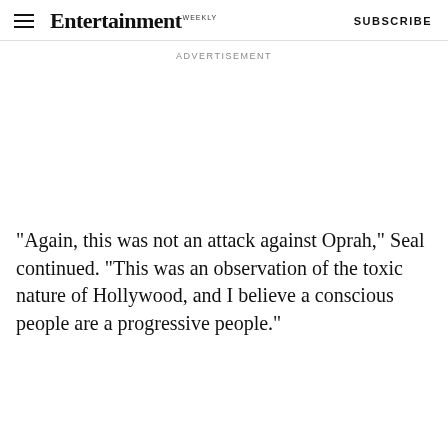Entertainment Weekly  SUBSCRIBE
ADVERTISEMENT
"Again, this was not an attack against Oprah," Seal continued. "This was an observation of the toxic nature of Hollywood, and I believe a conscious people are a progressive people."